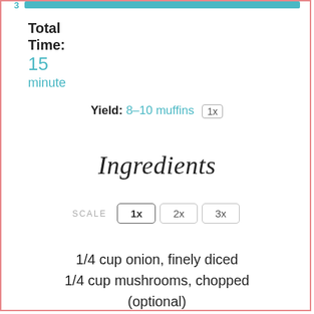Total Time: 15 minute
Yield: 8–10 muffins 1x
Ingredients
SCALE 1x 2x 3x
1/4 cup onion, finely diced
1/4 cup mushrooms, chopped
(optional)